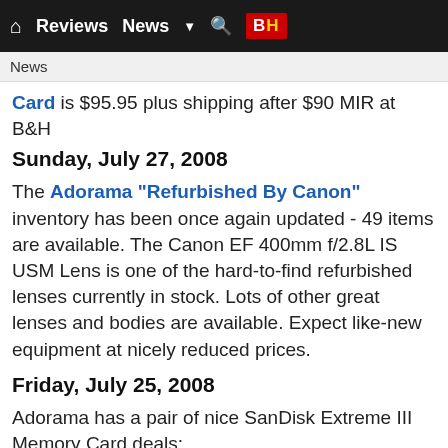🏠 Reviews  News  ▼  🔍  B&H
News
Card is $95.95 plus shipping after $90 MIR at B&H
Sunday, July 27, 2008
The Adorama "Refurbished By Canon" inventory has been once again updated - 49 items are available. The Canon EF 400mm f/2.8L IS USM Lens is one of the hard-to-find refurbished lenses currently in stock. Lots of other great lenses and bodies are available. Expect like-new equipment at nicely reduced prices.
Friday, July 25, 2008
Adorama has a pair of nice SanDisk Extreme III Memory Card deals: